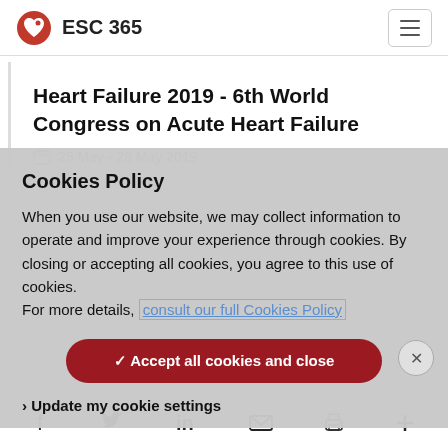ESC 365
Heart Failure 2019 - 6th World Congress on Acute Heart Failure
25 May - 28 May 2019
Cookies Policy
When you use our website, we may collect information to operate and improve your experience through cookies. By closing or accepting all cookies, you agree to this use of cookies.
For more details, consult our full Cookies Policy
✓ Accept all cookies and close
› Update my cookie settings